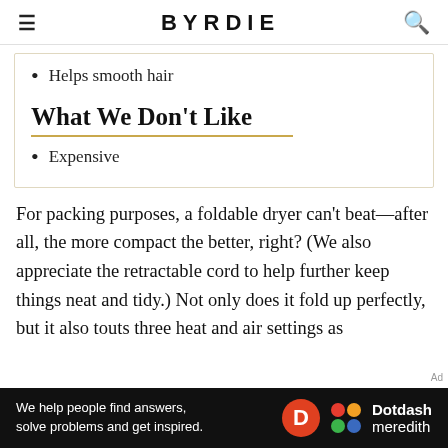BYRDIE
Helps smooth hair
What We Don't Like
Expensive
For packing purposes, a foldable dryer can't beat—after all, the more compact the better, right? (We also appreciate the retractable cord to help further keep things neat and tidy.) Not only does it fold up perfectly, but it also touts three heat and air settings as
[Figure (infographic): Dotdash Meredith advertisement bar: 'We help people find answers, solve problems and get inspired.' with D logo and colorful Dotdash Meredith logo]